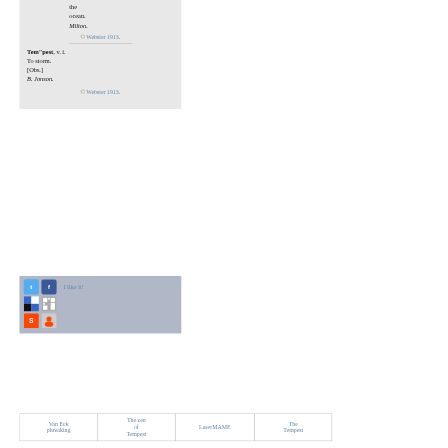the ocean.
Milton.
© Webster 1913.
Tem"pest, v. i.
To storm.
[Obs.]
B. Jonson.
© Webster 1913.
[Figure (infographic): Social sharing bar with icons for Twitter, Facebook, Delicious, QR code, StumbleUpon, Reddit, and 'I like it!' text]
| Van Eck phreaking | The zen of Tempest | LaserMAME | The Tempest |